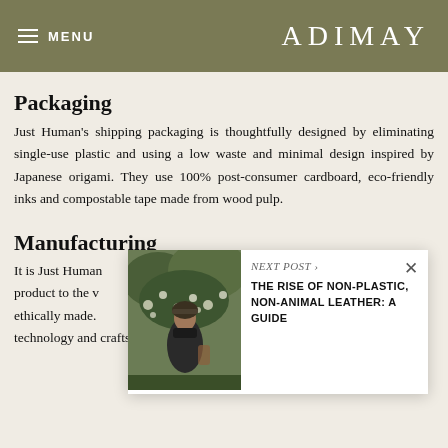MENU | ADIMAY
Packaging
Just Human's shipping packaging is thoughtfully designed by eliminating single-use plastic and using a low waste and minimal design inspired by Japanese origami. They use 100% post-consumer cardboard, eco-friendly inks and compostable tape made from wood pulp.
Manufacturing
It is Just Human her product to the v and ethically made. of technology and craftsmanship and milled out of a single sheet
[Figure (photo): Woman standing among flowers, used as next post preview thumbnail]
NEXT POST › THE RISE OF NON-PLASTIC, NON-ANIMAL LEATHER: A GUIDE